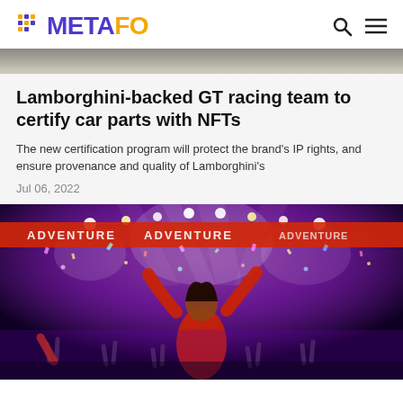METAFO
[Figure (photo): Top banner image showing a blurred outdoor scene]
Lamborghini-backed GT racing team to certify car parts with NFTs
The new certification program will protect the brand's IP rights, and ensure provenance and quality of Lamborghini's
Jul 06, 2022
[Figure (photo): Concert crowd photo with person raising arms, confetti, purple lighting, Adventure banner in background]